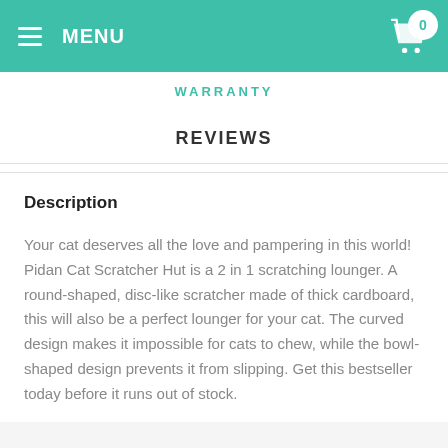MENU  0
WARRANTY
REVIEWS
Description
Your cat deserves all the love and pampering in this world! Pidan Cat Scratcher Hut is a 2 in 1 scratching lounger. A round-shaped, disc-like scratcher made of thick cardboard, this will also be a perfect lounger for your cat. The curved design makes it impossible for cats to chew, while the bowl-shaped design prevents it from slipping. Get this bestseller today before it runs out of stock.